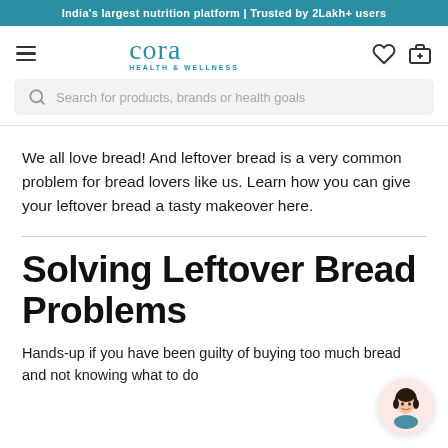India's largest nutrition platform | Trusted by 2Lakh+ users
[Figure (logo): Cora Health & Wellness logo with hamburger menu and navigation icons (heart, cart)]
Search for products, brands or health goals
We all love bread! And leftover bread is a very common problem for bread lovers like us. Learn how you can give your leftover bread a tasty makeover here.
Solving Leftover Bread Problems
Hands-up if you have been guilty of buying too much bread and not knowing what to do
[Figure (illustration): Chat bubble with cartoon woman avatar]